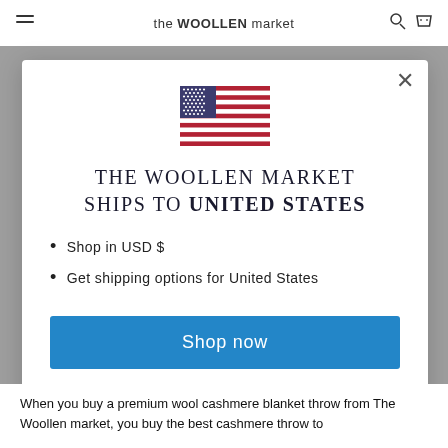the WOOLLEN market
[Figure (illustration): US flag SVG illustration]
THE WOOLLEN MARKET SHIPS TO UNITED STATES
Shop in USD $
Get shipping options for United States
Shop now
Change shipping country
When you buy a premium wool cashmere blanket throw from The Woollen market, you buy the best cashmere throw to...